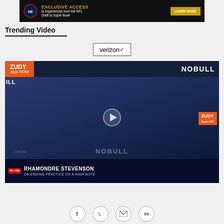[Figure (photo): NFL advertisement banner: EXCLUSIVE ACCESS to experiences from the NFL Draft to Super Bowl, with Patriots logo and LEARN MORE button]
Trending Video
[Figure (logo): Verizon logo with checkmark in a rectangular border]
[Figure (photo): Video thumbnail of Rhamondre Stevenson (38|RB) at Gillette Stadium press backdrop with NOBULL and ZUDY sponsors. Lower third reads: RHAMONDRE STEVENSON / ON ENDING PRACTICE ON A HIGH NOTE]
[Figure (infographic): Social sharing icons: Facebook, Twitter, Email, Link]